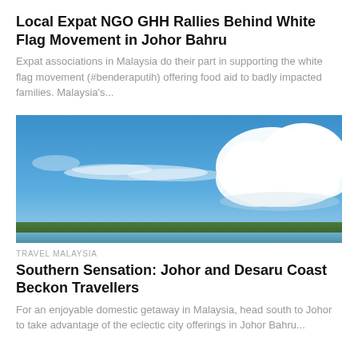Local Expat NGO GHH Rallies Behind White Flag Movement in Johor Bahru
Expat associations in Malaysia do their part in supporting the white flag movement (#benderaputih) offering food aid to badly impacted families. Malaysia's...
[Figure (photo): Wide panoramic photo of a blue sky with large white cumulus clouds on the right side, and a thin strip of green coastline and sea visible at the bottom.]
TRAVEL MALAYSIA
Southern Sensation: Johor and Desaru Coast Beckon Travellers
For an enjoyable domestic getaway in Malaysia, head south to Johor to take advantage of the eclectic city offerings in Johor Bahru...